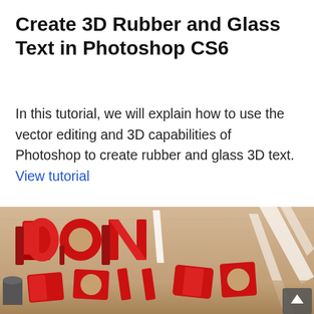Create 3D Rubber and Glass Text in Photoshop CS6
In this tutorial, we will explain how to use the vector editing and 3D capabilities of Photoshop to create rubber and glass 3D text. View tutorial
[Figure (photo): 3D rendered image showing large red rubber-style letters spelling 'DON'T STOP' scattered and stacked on a wooden surface, with transparent glass-like white diagonal elements in the background.]